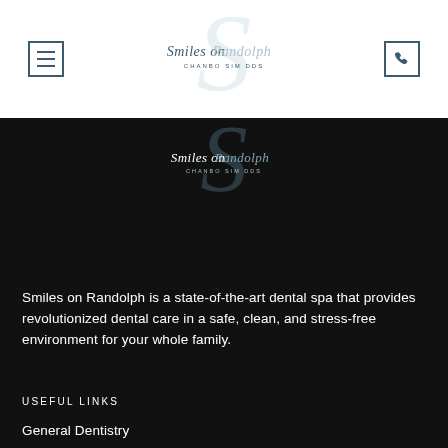[Figure (logo): Smiles on Randolph, Chanbo Sim DDS logo with large stylized S in background, top header version]
[Figure (logo): Smiles on Randolph, Chanbo Sim DDS logo on dark background]
Smiles on Randolph is a state-of-the-art dental spa that provides revolutionized dental care in a safe, clean, and stress-free environment for your whole family.
USEFUL LINKS
General Dentistry
Restorative Dentistry
Emergency Dentistry
Cosmetic Dentistry